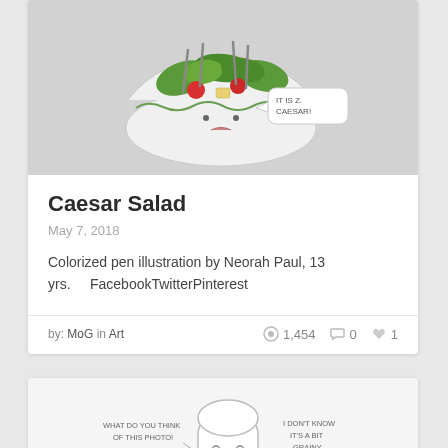[Figure (illustration): Colorized illustration of a salad bowl with a cartoon face, knives/forks sticking out, green leaves, and a speech bubble saying 'IT IS Z CAESAR!']
Caesar Salad
May 7, 2018
Colorized pen illustration by Neorah Paul, 13 yrs.     FacebookTwitterPinterest
by: MoG in Art
1,454   0   1
[Figure (illustration): Sketch illustration of a bread character with a face, speech bubbles saying 'WHAT DO YOU THINK OF THIS PHOTO!' and 'I DON'T KNOW IT'S A BIT GRAINY']